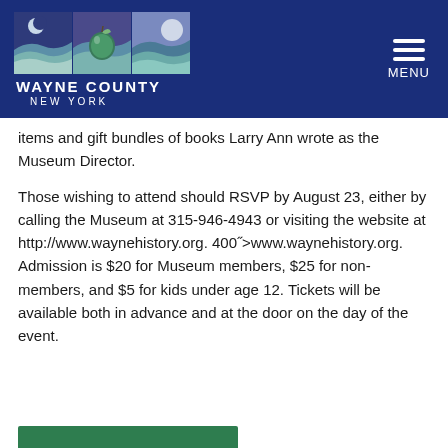[Figure (logo): Wayne County New York logo with three scenic panels and white text, on a dark blue banner with MENU hamburger icon]
items and gift bundles of books Larry Ann wrote as the Museum Director.
Those wishing to attend should RSVP by August 23, either by calling the Museum at 315-946-4943 or visiting the website at http://www.waynehistory.org. 400">www.waynehistory.org. Admission is $20 for Museum members, $25 for non-members, and $5 for kids under age 12. Tickets will be available both in advance and at the door on the day of the event.